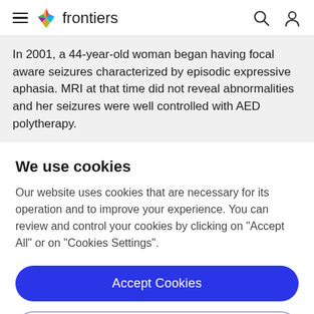frontiers
In 2001, a 44-year-old woman began having focal aware seizures characterized by episodic expressive aphasia. MRI at that time did not reveal abnormalities and her seizures were well controlled with AED polytherapy.
We use cookies
Our website uses cookies that are necessary for its operation and to improve your experience. You can review and control your cookies by clicking on "Accept All" or on "Cookies Settings".
Accept Cookies
Cookies Settings